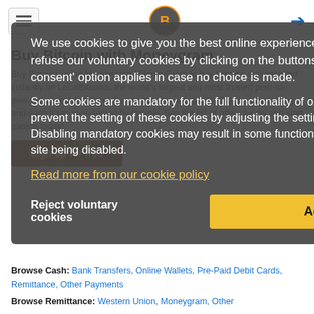Buy Bitcoin with Moneygram
Buy Bitcoins using Moneygram / MoneyGram to buy bitcoins securely and instantly on LocalBitcoins, the world's largest and most trusted peer-to-peer Bitcoin marketplace. Buying bitcoins with MoneyGram is super easy and each trade is protected by escrow. See the list of offers below and start trading today!
Sign up for free
We use cookies to give you the best online experience. You can accept or refuse our voluntary cookies by clicking on the buttons below. A default 'no consent' option applies in case no choice is made.

Some cookies are mandatory for the full functionality of our website. You can prevent the setting of these cookies by adjusting the settings on your browser. Disabling mandatory cookies may result in some functionality and features of this site being disabled.

Read more from our cookie policy
Reject voluntary cookies
Accept
Browse Cash: Bank Transfers, Online Wallets, Pre-Paid Debit Cards, Remittance, Other Payments
Browse Remittance: Western Union, Moneygram, Other